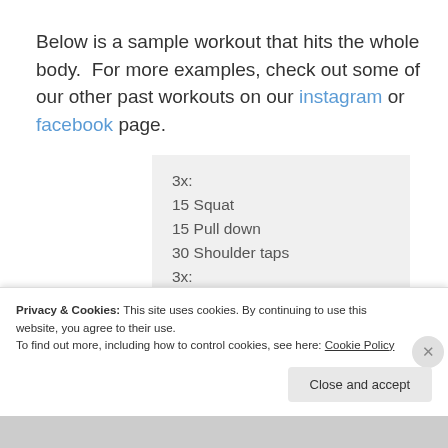Below is a sample workout that hits the whole body.  For more examples, check out some of our other past workouts on our instagram or facebook page.
[Figure (other): A light gray box listing a sample workout: 3x: 15 Squat, 15 Pull down, 30 Shoulder taps, 3x: 15 RDL, 15 DB Chest press]
Privacy & Cookies: This site uses cookies. By continuing to use this website, you agree to their use. To find out more, including how to control cookies, see here: Cookie Policy
Close and accept